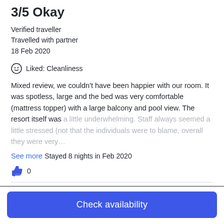3/5 Okay
Verified traveller
Travelled with partner
18 Feb 2020
Liked: Cleanliness
Mixed review, we couldn't have been happier with our room. It was spotless, large and the bed was very comfortable (mattress topper) with a large balcony and pool view. The resort itself was a little underwhelming. Staff always seemed a little stressed (not that the individuals were to blame, overall they were very…
See more
Stayed 8 nights in Feb 2020
0
5/5 Excellent
Verified traveller
Check availability